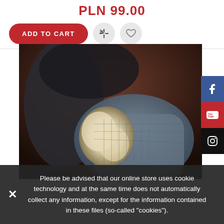PLN 99.00
ADD TO CART
[Figure (photo): Close-up photo of a winter hat or mitten with fur pompom detail in gray and cream, held or displayed against a dark background]
[Figure (infographic): Social media sidebar icons: Facebook (blue), YouTube (red), Instagram (black)]
Please be advised that our online store uses cookie technology and at the same time does not automatically collect any information, except for the information contained in these files (so-called "cookies").